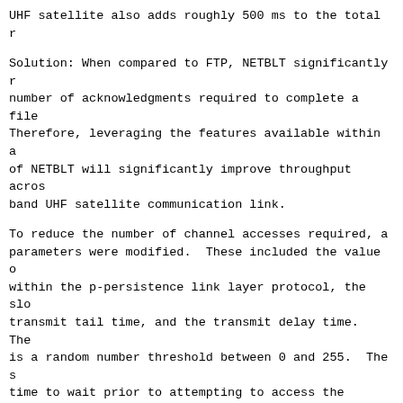UHF satellite also adds roughly 500 ms to the total r
Solution: When compared to FTP, NETBLT significantly reduces the number of acknowledgments required to complete a file transfer. Therefore, leveraging the features available within an implementation of NETBLT will significantly improve throughput across a narrow-band UHF satellite communication link.
To reduce the number of channel accesses required, a number of parameters were modified. These included the value of p within the p-persistence link layer protocol, the slot time, transmit tail time, and the transmit delay time. The value of p is a random number threshold between 0 and 255. The slot time is the time to wait prior to attempting to access the channel. Transmit tail increases the amount of time the radio carrier is held prior to dropping the channel. Transmit delay is normally equal to the value of the radio synchronization time. By adjusting these parameters to adapt to the tactical satellite environment, improved communication performance can be achieved.
First, in ETFTP, several packets within a buffer are transmitted within one burst. If the buffer is partitioned into ten packets of 1024 bytes, then 10,240 bytes of data is transmitted per channel access. It is possible to configure ETFTP's buffer size to equal the number of packets per buffer. Second, the transmit tail time was increased to hold the key down on the transmitter long enough to insure all of the packets within the buffer are sent in a single channel access. These two features, together, allow ETFTP to transmit an entire file (example, 100,000 bytes) with a reduced single channel access by adjusting buffer size. Third